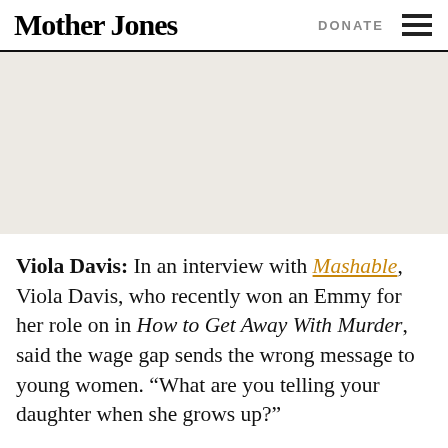Mother Jones | DONATE
[Figure (photo): Large image area placeholder with light beige/gray background]
Viola Davis: In an interview with Mashable, Viola Davis, who recently won an Emmy for her role on in How to Get Away With Murder, said the wage gap sends the wrong message to young women. “What are you telling your daughter when she grows up?”